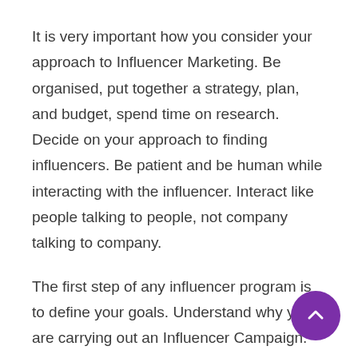It is very important how you consider your approach to Influencer Marketing. Be organised, put together a strategy, plan, and budget, spend time on research. Decide on your approach to finding influencers. Be patient and be human while interacting with the influencer. Interact like people talking to people, not company talking to company.
The first step of any influencer program is to define your goals. Understand why you are carrying out an Influencer Campaign. Then define the target audience for your campaign. For Influencer Marketing to be successful, you need to work with influencers who influence your target audience. From that,